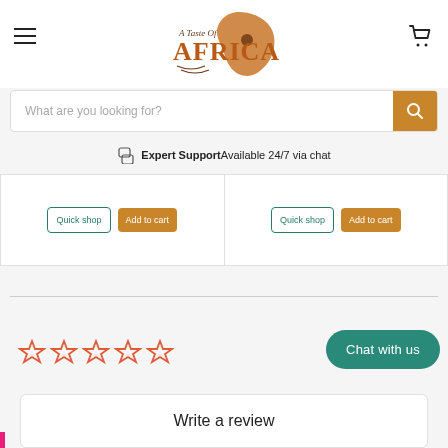[Figure (logo): A Taste of Africa logo with orange Africa continent silhouette and text]
What are you looking for?
Expert Support Available 24/7 via chat
Quick shop | Add to cart | Quick shop | Add to cart
[Figure (other): Five empty star rating icons]
Chat with us
Write a review